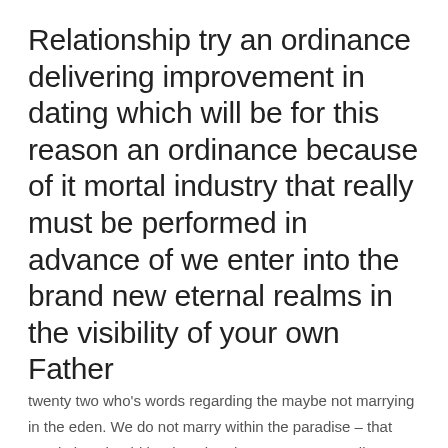Relationship try an ordinance delivering improvement in dating which will be for this reason an ordinance because of it mortal industry that really must be performed in advance of we enter into the brand new eternal realms in the visibility of your own Father
twenty two who’s words regarding the maybe not marrying in the eden. We do not marry within the paradise – that regulation should be done in advance. To own endless power to secure for the eden what is actually shut on earth, the newest sealing away from a person and you can lady have to be performed when you look at the the latest Forehead by the individual who has experienced the